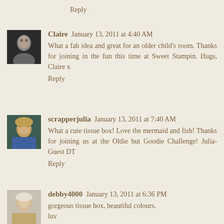Reply
Claire  January 13, 2011 at 4:40 AM
What a fab idea and great for an older child's room. Thanks for joining in the fun this time at Sweet Stampin. Hugs, Claire x
Reply
scrapperjulia  January 13, 2011 at 7:40 AM
What a cute tissue box! Love the mermaid and fish! Thanks for joining us at the Oldie but Goodie Challenge! Julia-Guest DT
Reply
debby4000  January 13, 2011 at 6:36 PM
gorgeous tissue box, beautiful colours.
luv